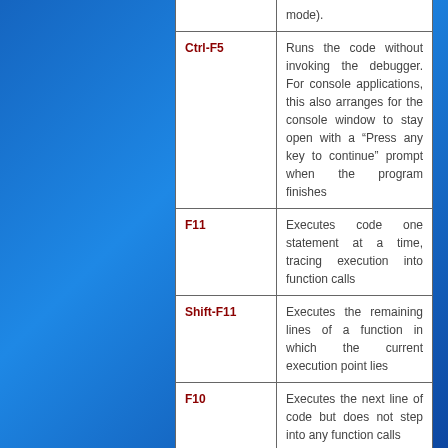| Key | Description |
| --- | --- |
|  | mode). |
| Ctrl-F5 | Runs the code without invoking the debugger. For console applications, this also arranges for the console window to stay open with a “Press any key to continue” prompt when the program finishes |
| F11 | Executes code one statement at a time, tracing execution into function calls |
| Shift-F11 | Executes the remaining lines of a function in which the current execution point lies |
| F10 | Executes the next line of code but does not step into any function calls |
| Shift-F5 | Available in break and run modes, |